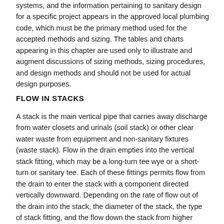systems, and the information pertaining to sanitary design for a specific project appears in the approved local plumbing code, which must be the primary method used for the accepted methods and sizing. The tables and charts appearing in this chapter are used only to illustrate and augment discussions of sizing methods, sizing procedures, and design methods and should not be used for actual design purposes.
FLOW IN STACKS
A stack is the main vertical pipe that carries away discharge from water closets and urinals (soil stack) or other clear water waste from equipment and non-sanitary fixtures (waste stack). Flow in the drain empties into the vertical stack fitting, which may be a long-turn tee wye or a short-turn or sanitary tee. Each of these fittings permits flow from the drain to enter the stack with a component directed vertically downward. Depending on the rate of flow out of the drain into the stack, the diameter of the stack, the type of stack fitting, and the flow down the stack from higher levels (if any), the discharge from the fixture drain may or may not fill the cross-section of the stack at the level of entry. In any event, as soon as the water enters the stack, the force of gravity rapidly accelerates it